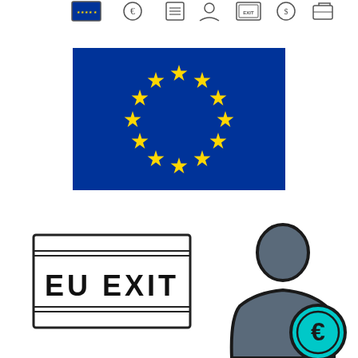[Figure (illustration): Row of small icon images at the top of the page (partially visible, cropped): EU flag icon, currency/money icon, document icon, person icon, and other related icons]
[Figure (illustration): European Union flag: dark blue rectangle with a circle of 12 gold/yellow stars in the center]
[Figure (illustration): EU EXIT passport stamp icon: rectangular stamp with double border lines, containing text 'EU EXIT' in bold block letters]
[Figure (illustration): Silhouette of a person (dark grey) with a teal/cyan euro currency coin symbol (€) overlapping at the lower right, representing a European citizen with financial/currency association]